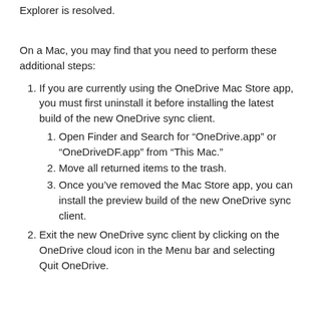Explorer is resolved.
On a Mac, you may find that you need to perform these additional steps:
If you are currently using the OneDrive Mac Store app, you must first uninstall it before installing the latest build of the new OneDrive sync client.
Open Finder and Search for “OneDrive.app” or “OneDriveDF.app” from “This Mac.”
Move all returned items to the trash.
Once you’ve removed the Mac Store app, you can install the preview build of the new OneDrive sync client.
Exit the new OneDrive sync client by clicking on the OneDrive cloud icon in the Menu bar and selecting Quit OneDrive.